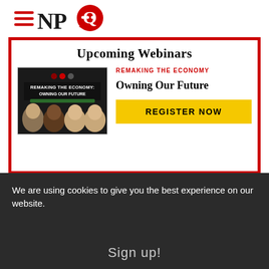NPQ logo
Upcoming Webinars
[Figure (screenshot): Promotional image for 'Remaking the Economy: Owning Our Future' webinar, showing four speakers' faces against a dark background with the event title.]
REMAKING THE ECONOMY
Owning Our Future
REGISTER NOW
Learn 4 Keys to Help
We are using cookies to give you the best experience on our website.
Sign up!